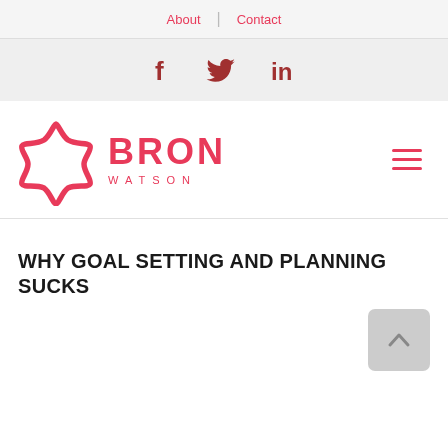About   |   Contact
[Figure (logo): Social media icons: Facebook (f), Twitter (bird), LinkedIn (in) in dark red/crimson color on light grey background]
[Figure (logo): Bron Watson logo: pink/red star outline icon on left, 'BRON' in large bold pink text and 'WATSON' in spaced pink letters below. Hamburger menu icon on right.]
WHY GOAL SETTING AND PLANNING SUCKS